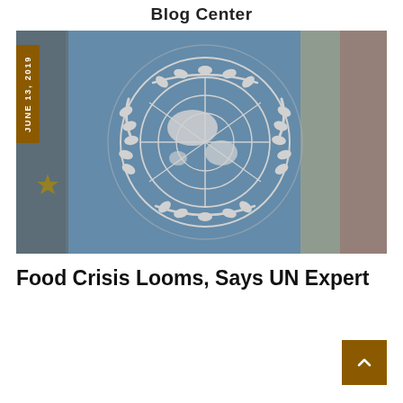Blog Center
[Figure (photo): Photograph of UN flag (blue with white UN emblem — globe with laurel wreath) flanked by other flags, date badge reading JUNE 13, 2019 on left side]
Food Crisis Looms, Says UN Expert